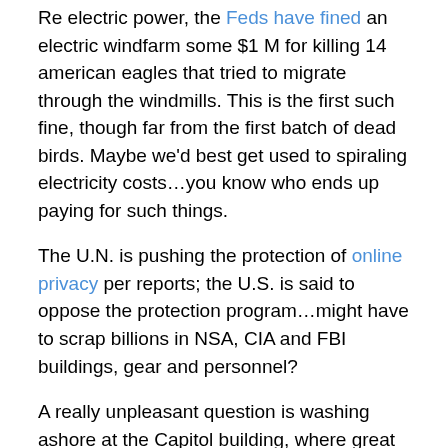Re electric power, the Feds have fined an electric windfarm some $1 M for killing 14 american eagles that tried to migrate through the windmills. This is the first such fine, though far from the first batch of dead birds. Maybe we'd best get used to spiraling electricity costs…you know who ends up paying for such things.
The U.N. is pushing the protection of online privacy per reports; the U.S. is said to oppose the protection program…might have to scrap billions in NSA, CIA and FBI buildings, gear and personnel?
A really unpleasant question is washing ashore at the Capitol building, where great effort is going into ignoring it. How are the Social Security payments of present retirees and the oncoming flood of baby boomer retirements going to be funded? The present Social Security fund is in deficit